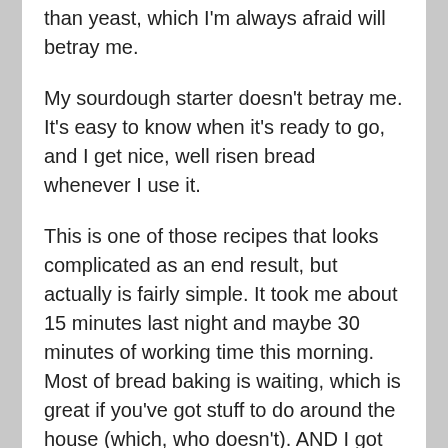than yeast, which I'm always afraid will betray me.
My sourdough starter doesn't betray me. It's easy to know when it's ready to go, and I get nice, well risen bread whenever I use it.
This is one of those recipes that looks complicated as an end result, but actually is fairly simple. It took me about 15 minutes last night and maybe 30 minutes of working time this morning. Most of bread baking is waiting, which is great if you've got stuff to do around the house (which, who doesn't). AND I got the whole thing done before Erik came home mid morning, so we could have it right away!